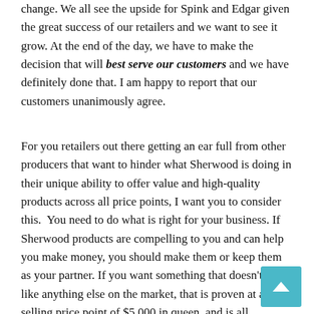change. We all see the upside for Spink and Edgar given the great success of our retailers and we want to see it grow. At the end of the day, we have to make the decision that will best serve our customers and we have definitely done that. I am happy to report that our customers unanimously agree.
For you retailers out there getting an ear full from other producers that want to hinder what Sherwood is doing in their unique ability to offer value and high-quality products across all price points, I want you to consider this.  You need to do what is right for your business. If Sherwood products are compelling to you and can help you make money, you should make them or keep them as your partner. If you want something that doesn't feel like anything else on the market, that is proven at a best selling price point of $5,000 in queen, and is all